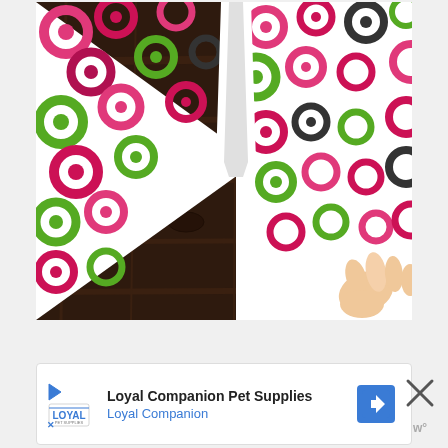[Figure (photo): A hand holding colorful patterned paper (with circles/rings in pink, green, red, dark colors) folded into a triangular/tent shape on a dark wooden surface. The paper has a retro bubble/circle pattern.]
Loyal Companion Pet Supplies
Loyal Companion